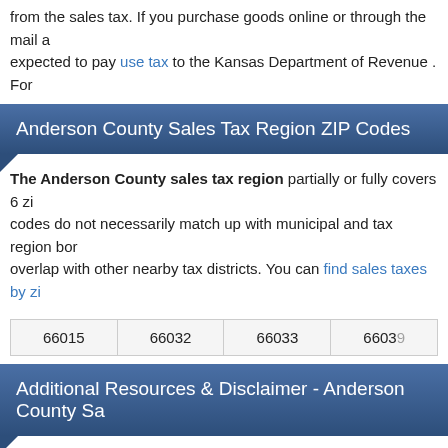from the sales tax. If you purchase goods online or through the mail a expected to pay use tax to the Kansas Department of Revenue . For
Anderson County Sales Tax Region ZIP Codes
The Anderson County sales tax region partially or fully covers 6 zi codes do not necessarily match up with municipal and tax region bor overlap with other nearby tax districts. You can find sales taxes by zi
| 66015 | 66032 | 66033 | 66039 |
Additional Resources & Disclaimer - Anderson County Sa
While we make every effort to ensure that our information on the And offer no warranty as to the accuracy of the data provided. Please let we will update our database as soon as possible.
Learn more about the Kansas sales tax
View Kansas sales taxes by county
Anderson County sales tax rate map (by SalesTaxHandbook)